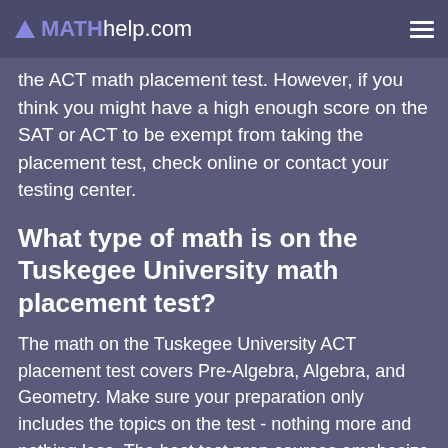MATHhelp.com
the ACT math placement test. However, if you think you might have a high enough score on the SAT or ACT to be exempt from taking the placement test, check online or contact your testing center.
What type of math is on the Tuskegee University math placement test?
The math on the Tuskegee University ACT placement test covers Pre-Algebra, Algebra, and Geometry. Make sure your preparation only includes the topics on the test - nothing more and nothing less. The best test prep courses emphasize efficiency.
Is the math on the Tuskegee University